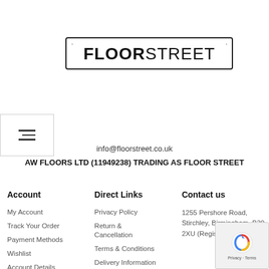[Figure (logo): Floor Street logo inside a rectangular border with corner dots. Bold text reads FLOORSTREET with FLOOR in bold and STREET in lighter weight.]
info@floorstreet.co.uk
AW FLOORS LTD (11949238) TRADING AS FLOOR STREET
Account
Direct Links
Contact us
My Account
Track Your Order
Payment Methods
Wishlist
Account Details
Privacy
Privacy Policy
Return & Cancellation
Terms & Conditions
Delivery Information
Shop Instagram
Expert Fitting
1255 Pershore Road, Stirchley, Birmingham, B30 2XU (Registered Address)